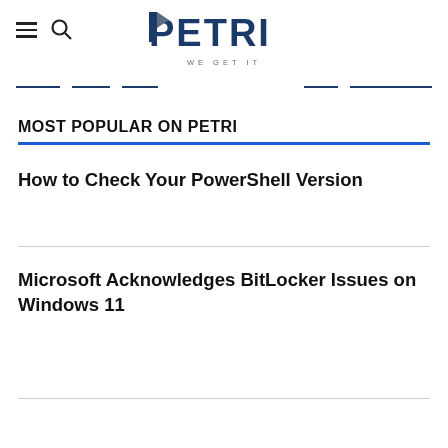PETRI — WE GET IT
MOST POPULAR ON PETRI
How to Check Your PowerShell Version
Microsoft Acknowledges BitLocker Issues on Windows 11